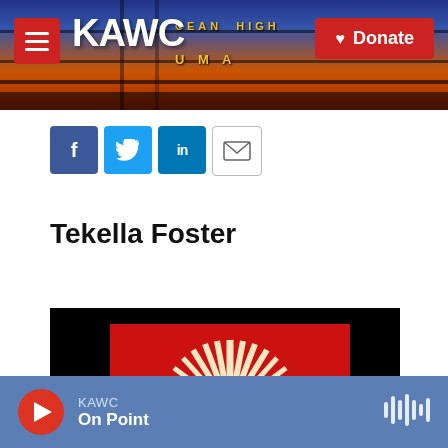KAWC | Donate
[Figure (screenshot): KAWC radio station website header with logo, menu button, and donate button over a banner photo of a highway sign reading OCEAN HIGHWAY YUMA]
[Figure (infographic): Social share buttons: Facebook, Twitter, LinkedIn, Email]
Tekella Foster
[Figure (photo): Article image showing a red background with a white sunburst/starburst logo on black background]
KAWC On Point